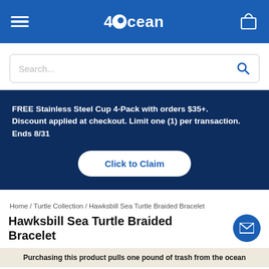4ocean
[Figure (screenshot): Search input box with placeholder text 'Search...' and a blue search icon on the right]
FREE Stainless Steel Cup 4-Pack with orders $35+. Discount applied at checkout. Limit one (1) per transaction. Ends 8/31
Click to Claim
Home / Turtle Collection / Hawksbill Sea Turtle Braided Bracelet
Hawksbill Sea Turtle Braided Bracelet
Purchasing this product pulls one pound of trash from the ocean